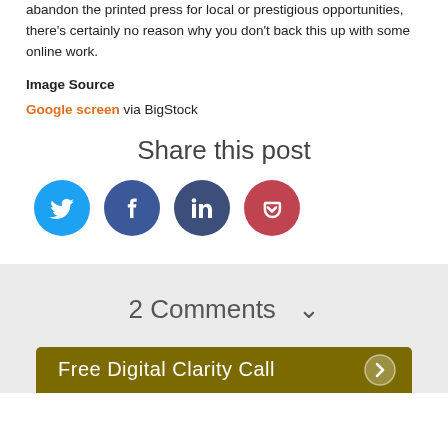abandon the printed press for local or prestigious opportunities, there's certainly no reason why you don't back this up with some online work.
Image Source
Google screen via BigStock
Share this post
[Figure (infographic): Four social media share icon buttons: Twitter (blue), Facebook (dark blue), LinkedIn (dark navy), Pocket (red/pink), arranged in a horizontal row]
2 Comments  ∨
Free Digital Clarity Call